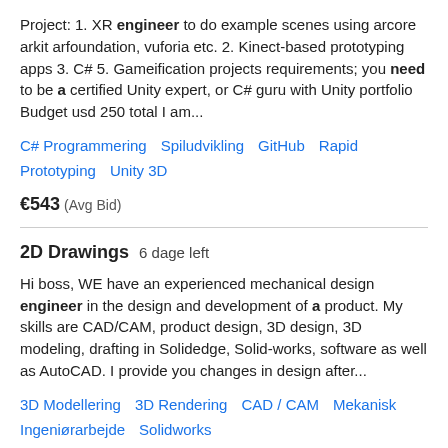Project: 1. XR engineer to do example scenes using arcore arkit arfoundation, vuforia etc. 2. Kinect-based prototyping apps 3. C# 5. Gameification projects requirements; you need to be a certified Unity expert, or C# guru with Unity portfolio Budget usd 250 total I am...
C# Programmering   Spiludvikling   GitHub   Rapid Prototyping   Unity 3D
€543  (Avg Bid)
2D Drawings  6 dage left
Hi boss, WE have an experienced mechanical design engineer in the design and development of a product. My skills are CAD/CAM, product design, 3D design, 3D modeling, drafting in Solidedge, Solid-works, software as well as AutoCAD. I provide you changes in design after...
3D Modellering   3D Rendering   CAD / CAM   Mekanisk Ingeniørarbejde   Solidworks